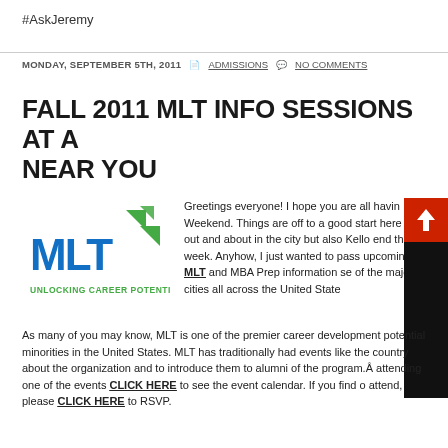#AskJeremy
MONDAY, SEPTEMBER 5TH, 2011   ADMISSIONS   NO COMMENTS
FALL 2011 MLT INFO SESSIONS AT A NEAR YOU
[Figure (logo): MLT logo with green arrows and text UNLOCKING CAREER POTENTIAL]
Greetings everyone! I hope you are all havin Weekend. Things are off to a good start here been out and about in the city but also Kello end this week. Anyhow, I just wanted to pass upcoming MLT and MBA Prep information se of the major cities all across the United State
As many of you may know, MLT is one of the premier career development potential minorities in the United States. MLT has traditionally had events like the country about the organization and to introduce them to alumni of the program. attending one of the events CLICK HERE to see the event calendar. If you find o attend, please CLICK HERE to RSVP.